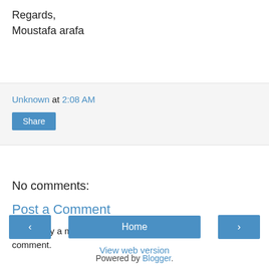Regards,
Moustafa arafa
Unknown at 2:08 AM
Share
No comments:
Post a Comment
Note: Only a member of this blog may post a comment.
< Home > View web version
Powered by Blogger.